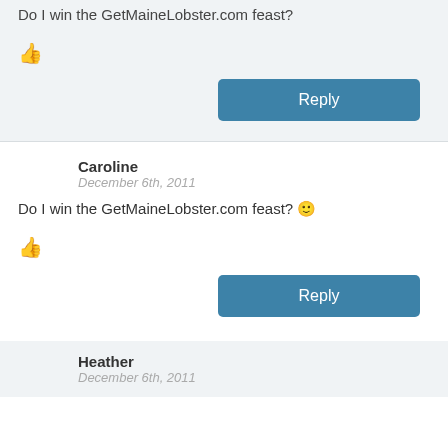Do I win the GetMaineLobster.com feast?
👍
Reply
Caroline
December 6th, 2011
Do I win the GetMaineLobster.com feast? 🙂
👍
Reply
Heather
December 6th, 2011